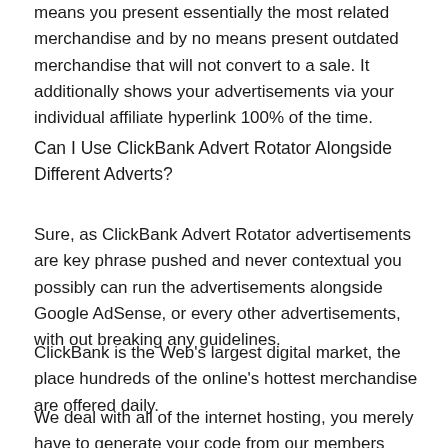means you present essentially the most related merchandise and by no means present outdated merchandise that will not convert to a sale. It additionally shows your advertisements via your individual affiliate hyperlink 100% of the time.
Can I Use ClickBank Advert Rotator Alongside Different Adverts?
Sure, as ClickBank Advert Rotator advertisements are key phrase pushed and never contextual you possibly can run the advertisements alongside Google AdSense, or every other advertisements, with out breaking any guidelines.
ClickBank is the Web's largest digital market, the place hundreds of the online's hottest merchandise are offered daily.
We deal with all of the internet hosting, you merely have to generate your code from our members space and paste it into